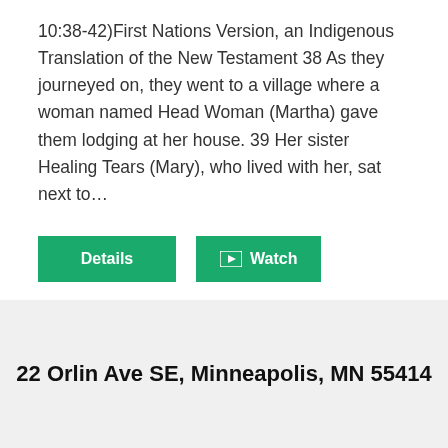10:38-42)First Nations Version, an Indigenous Translation of the New Testament 38 As they journeyed on, they went to a village where a woman named Head Woman (Martha) gave them lodging at her house. 39 Her sister Healing Tears (Mary), who lived with her, sat next to…
[Figure (other): Two green buttons: 'Details' and a play-icon 'Watch' button]
22 Orlin Ave SE, Minneapolis, MN 55414